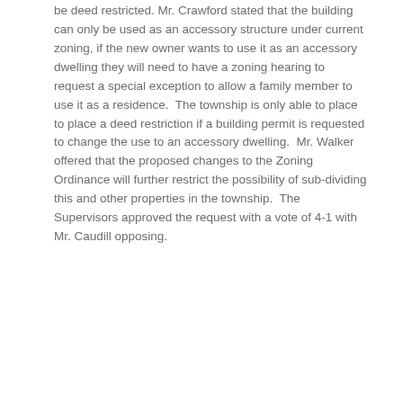be deed restricted. Mr. Crawford stated that the building can only be used as an accessory structure under current zoning, if the new owner wants to use it as an accessory dwelling they will need to have a zoning hearing to request a special exception to allow a family member to use it as a residence. The township is only able to place to place a deed restriction if a building permit is requested to change the use to an accessory dwelling. Mr. Walker offered that the proposed changes to the Zoning Ordinance will further restrict the possibility of sub-dividing this and other properties in the township. The Supervisors approved the request with a vote of 4-1 with Mr. Caudill opposing.